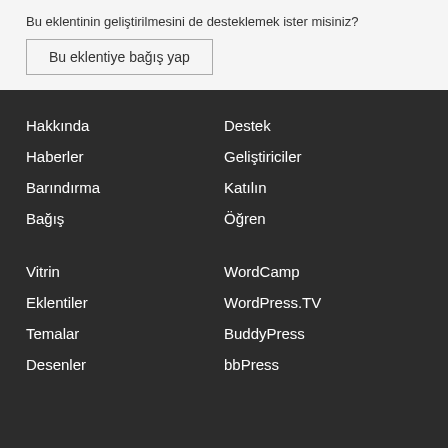Bu eklentinin geliştirilmesini de desteklemek ister misiniz?
Bu eklentiye bağış yap
Hakkında
Haberler
Barındırma
Bağış
Destek
Geliştiriciler
Katılın
Öğren
Vitrin
Eklentiler
Temalar
Desenler
WordCamp
WordPress.TV
BuddyPress
bbPress